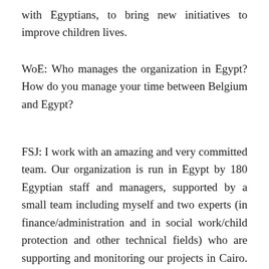with Egyptians, to bring new initiatives to improve children lives.
WoE: Who manages the organization in Egypt? How do you manage your time between Belgium and Egypt?
FSJ: I work with an amazing and very committed team. Our organization is run in Egypt by 180 Egyptian staff and managers, supported by a small team including myself and two experts (in finance/administration and in social work/child protection and other technical fields) who are supporting and monitoring our projects in Cairo. I